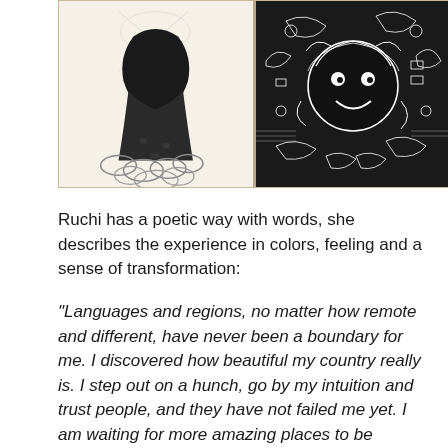[Figure (photo): Open sketchbook/notebook showing two pages: left page has a pencil/ink drawing of a dark hooded figure with swirling clouds, right page has dense black ink illustration with a face/character surrounded by intricate patterns and designs]
Ruchi has a poetic way with words, she describes the experience in colors, feeling and a sense of transformation:
“Languages and regions, no matter how remote and different, have never been a boundary for me. I discovered how beautiful my country really is. I step out on a hunch, go by my intuition and trust people, and they have not failed me yet. I am waiting for more amazing places to be